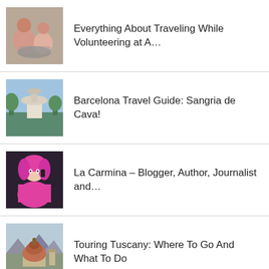Everything About Traveling While Volunteering at A…
Barcelona Travel Guide: Sangria de Cava!
La Carmina – Blogger, Author, Journalist and…
Touring Tuscany: Where To Go And What To Do